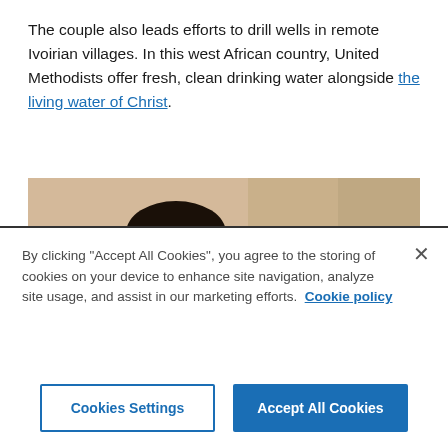The couple also leads efforts to drill wells in remote Ivoirian villages. In this west African country, United Methodists offer fresh, clean drinking water alongside the living water of Christ.
[Figure (photo): A Black woman holding an open book (Bible) and speaking or singing, photographed from the side/front, in a light-colored interior setting.]
By clicking "Accept All Cookies", you agree to the storing of cookies on your device to enhance site navigation, analyze site usage, and assist in our marketing efforts. Cookie policy